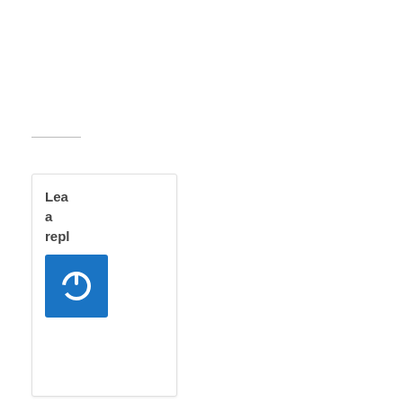Lea a repl
[Figure (logo): Blue square button with a white power/on icon (circle with a gap at the top and a vertical line)]